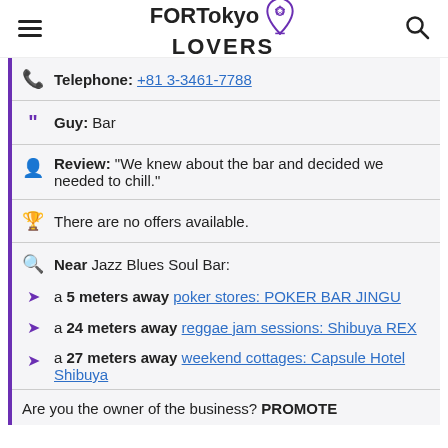FOR Tokyo LOVERS
Telephone: +81 3-3461-7788
Guy: Bar
Review: "We knew about the bar and decided we needed to chill."
There are no offers available.
Near Jazz Blues Soul Bar:
a 5 meters away poker stores: POKER BAR JINGU
a 24 meters away reggae jam sessions: Shibuya REX
a 27 meters away weekend cottages: Capsule Hotel Shibuya
Are you the owner of the business? PROMOTE